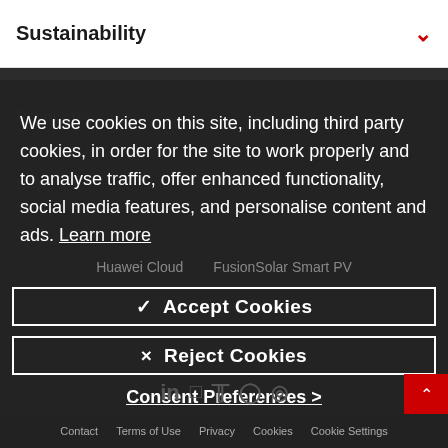Sustainability
We use cookies on this site, including third party cookies, in order for the site to work properly and to analyse traffic, offer enhanced functionality, social media features, and personalise content and ads. Learn more
Huawei Cloud   FusionSolar Smart PV
√ Accept Cookies
× Reject Cookies
Consent Preferences >
©2022 Huawei Technologies Co., Ltd.
Contact   Terms of Use   Privacy   Cookies   Cookie Settings